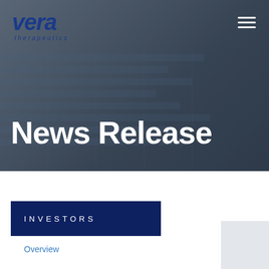[Figure (photo): Hero banner image showing hands reviewing financial charts and documents on a desk, with a dark blue overlay. Vera Therapeutics logo in top-left and hamburger menu icon in top-right.]
News Release
INVESTORS
Overview